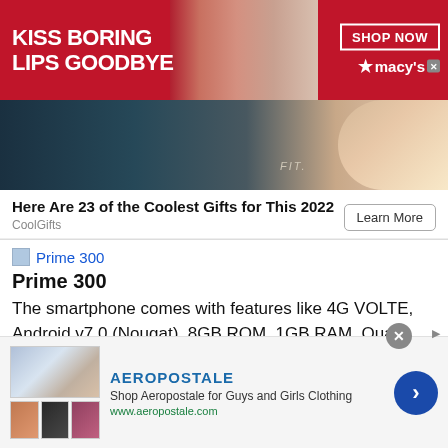[Figure (photo): Macy's advertisement banner showing a woman with red lipstick, red background on left with text 'KISS BORING LIPS GOODBYE', SHOP NOW button and Macy's logo on right]
[Figure (photo): Close-up product advertisement image showing a dark device and a fingernail, with 'FIT.' text overlay]
Here Are 23 of the Coolest Gifts for This 2022
CoolGifts
Learn More
[Figure (photo): Small thumbnail image placeholder for Prime 300]
Prime 300
Prime 300
The smartphone comes with features like 4G VOLTE, Android v7.0 (Nougat), 8GB ROM, 1GB RAM, Quad Core 1.3 GHz processor, 5.0-inch display with 480x800
[Figure (photo): Aeropostale advertisement banner showing clothing images, brand name AEROPOSTALE, tagline 'Shop Aeropostale for Guys and Girls Clothing', URL www.aeropostale.com, and a blue circular arrow button]